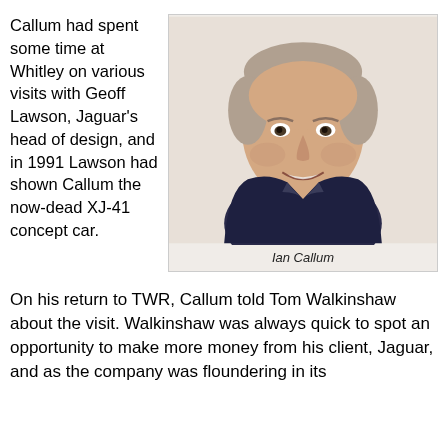Callum had spent some time at Whitley on various visits with Geoff Lawson, Jaguar's head of design, and in 1991 Lawson had shown Callum the now-dead XJ-41 concept car.
[Figure (photo): Portrait photo of Ian Callum, a middle-aged man with light grey/brown hair, wearing a dark navy blazer over a light blue shirt, smiling against a light beige background.]
Ian Callum
On his return to TWR, Callum told Tom Walkinshaw about the visit. Walkinshaw was always quick to spot an opportunity to make more money from his client, Jaguar, and as the company was floundering in its